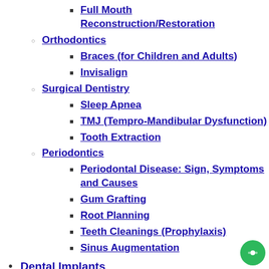Full Mouth Reconstruction/Restoration
Orthodontics
Braces (for Children and Adults)
Invisalign
Surgical Dentistry
Sleep Apnea
TMJ (Tempro-Mandibular Dysfunction)
Tooth Extraction
Periodontics
Periodontal Disease: Sign, Symptoms and Causes
Gum Grafting
Root Planning
Teeth Cleanings (Prophylaxis)
Sinus Augmentation
Dental Implants
Nobel Biocare
Full Arch/Multiple Teeth/Single Tooth Replacement
Full Mouth Reconstruction/Restoration